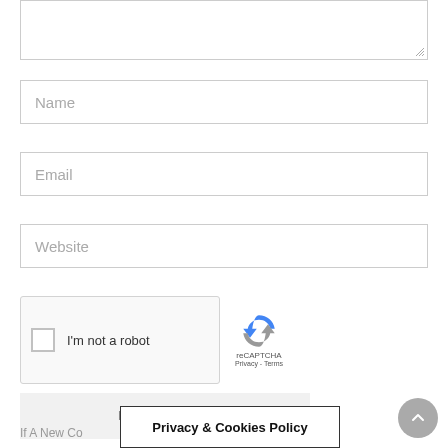[Figure (screenshot): Comment form textarea (top portion, partially visible), with resize handle at bottom right]
Name
Email
Website
[Figure (other): reCAPTCHA widget with checkbox 'I'm not a robot' and reCAPTCHA logo with Privacy and Terms links]
POST REPLY
If A New Co
Privacy & Cookies Policy